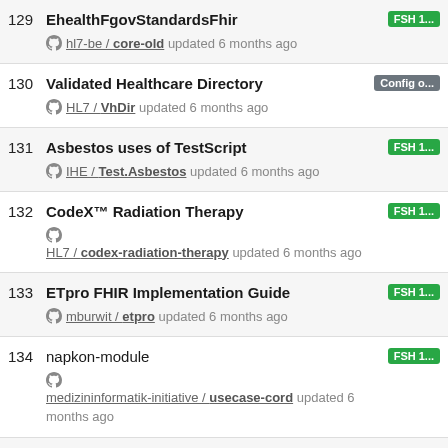129 EhealthFgovStandardsFhir
hl7-be / core-old updated 6 months ago
[FSH 1...]
130 Validated Healthcare Directory
HL7 / VhDir updated 6 months ago
[Config o...]
131 Asbestos uses of TestScript
IHE / Test.Asbestos updated 6 months ago
[FSH 1...]
132 CodeX™ Radiation Therapy
HL7 / codex-radiation-therapy updated 6 months ago
[FSH 1...]
133 ETpro FHIR Implementation Guide
mburwit / etpro updated 6 months ago
[FSH 1...]
134 napkon-module
medizininformatik-initiative / usecase-cord updated 6 months ago
[FSH 1...]
135 Vital Records FHIR Messaging IG
nightingaleproject / ...
[FSH 1...]